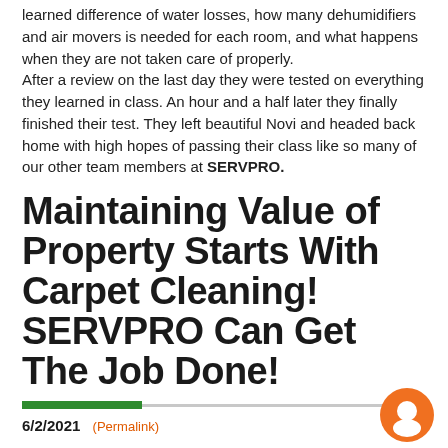learned difference of water losses, how many dehumidifiers and air movers is needed for each room, and what happens when they are not taken care of properly.
After a review on the last day they were tested on everything they learned in class. An hour and a half later they finally finished their test. They left beautiful Novi and headed back home with high hopes of passing their class like so many of our other team members at SERVPRO.
Maintaining Value of Property Starts With Carpet Cleaning! SERVPRO Can Get The Job Done!
6/2/2021 (Permalink)
Carpet cleaning is important to maintaining the overall